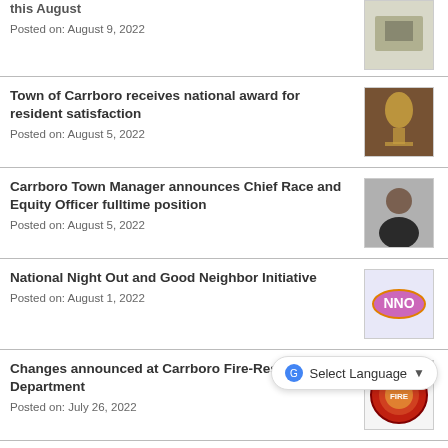this August
Posted on: August 9, 2022
Town of Carrboro receives national award for resident satisfaction
Posted on: August 5, 2022
Carrboro Town Manager announces Chief Race and Equity Officer fulltime position
Posted on: August 5, 2022
National Night Out and Good Neighbor Initiative
Posted on: August 1, 2022
Changes announced at Carrboro Fire-Rescue Department
Posted on: July 26, 2022
Resurfacing of Merritt Street and Oak Avenue to start this week